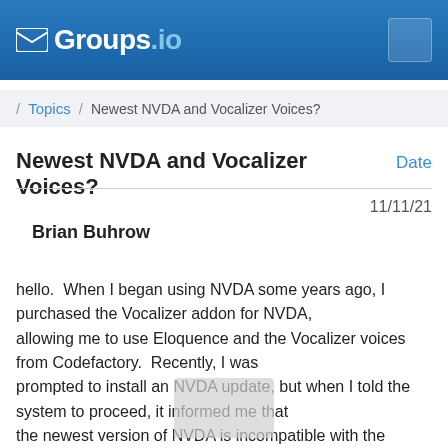Groups.io
/ Topics / Newest NVDA and Vocalizer Voices?
Newest NVDA and Vocalizer Voices?
Date
11/11/21
Brian Buhrow
hello.  When I began using NVDA some years ago, I purchased the Vocalizer addon for NVDA, allowing me to use Eloquence and the Vocalizer voices from Codefactory.  Recently, I was prompted to install an NVDA update, but when I told the system to proceed, it informed me that the newest version of NVDA is incompatible with the Vocalizer addon I purchased.  For the